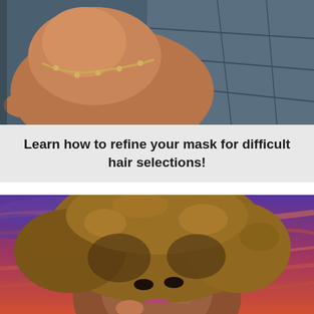[Figure (photo): Close-up photo of a woman with a necklace/bracelet, tanned skin, against a blue-toned background. Only partial body visible from shoulders up.]
Learn how to refine your mask for difficult hair selections!
[Figure (photo): Portrait of a woman with voluminous curly blonde-streaked hair, wearing dramatic makeup with pink lipstick, against a vivid orange-purple sunset sky background.]